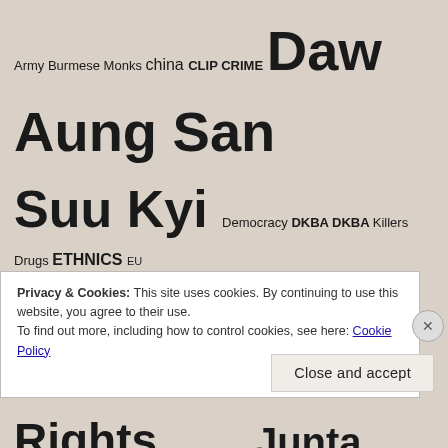[Figure (infographic): Tag cloud of Burma/Myanmar-related political and news keywords in varying font sizes indicating frequency/prominence. Words include: Army, Burmese, Monks, china, CLIP, CRIME, Daw Aung San Suu Kyi, Democracy, DKBA, DKBA Killers, Drugs, ETHNICS, EU, FREE BURMA, Genocide, Government, Human Rights, India, Information, Junta, Kachin, Kachin State, Karen, KIA, KIO, KNLA, KNU, malaysia, Meeting, migrants, Mon, monks, Myanmar, NEWS, NLD, Occupy Bangkok, PDRC, Police, political prisoner, political prisoners, prisoner, Protest, Rakhine State, refugee, Rohingyas, SHAN, shutdown bangkok, so-called Rohingya, SPDC, statement, Thai-Burma Border, Thailand]
Privacy & Cookies: This site uses cookies. By continuing to use this website, you agree to their use.
To find out more, including how to control cookies, see here: Cookie Policy
Close and accept